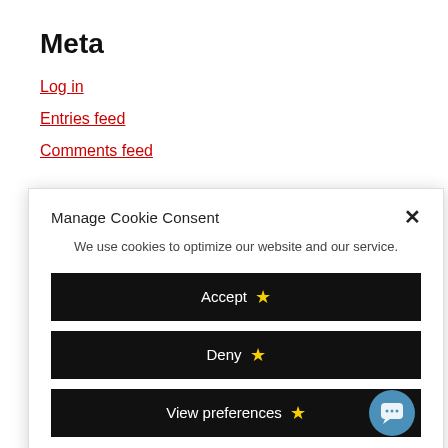Meta
Log in
Entries feed
Comments feed
Manage Cookie Consent
We use cookies to optimize our website and our service.
Accept ★
Deny ★
View preferences ★